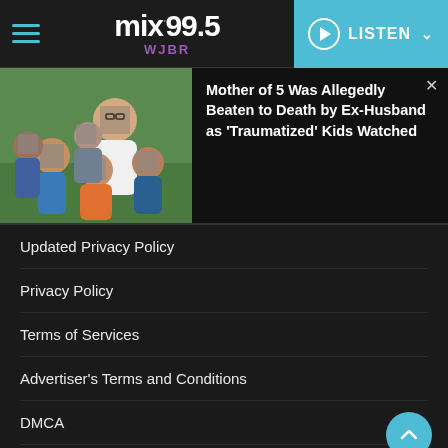mix99.5 WJBR — LISTEN
[Figure (photo): Photo of a smiling woman with glasses surrounded by five children with blurred/pixelated faces, sitting on grass.]
Mother of 5 Was Allegedly Beaten to Death by Ex-Husband as 'Traumatized' Kids Watched
Updated Privacy Policy
Privacy Policy
Terms of Services
Advertiser's Terms and Conditions
DMCA
EEO
FCC Public File
FCC Applications